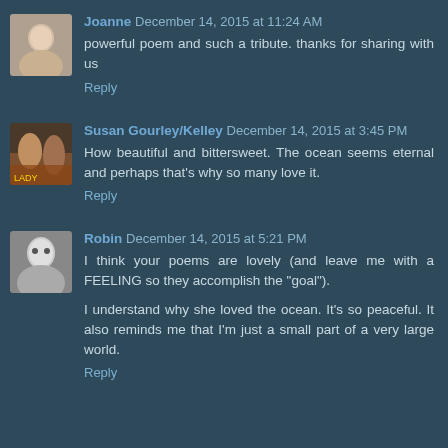Joanne December 14, 2015 at 11:24 AM
powerful poem and such a tribute. thanks for sharing with us
Reply
Susan Gourley/Kelley December 14, 2015 at 3:45 PM
How beautiful and bittersweet. The ocean seems eternal and perhaps that's why so many love it.
Reply
Robin December 14, 2015 at 5:21 PM
I think your poems are lovely (and leave me with a FEELING so they accomplish the "goal").
I understand why she loved the ocean. It's so peaceful. It also reminds me that I'm just a small part of a very large world.
Reply